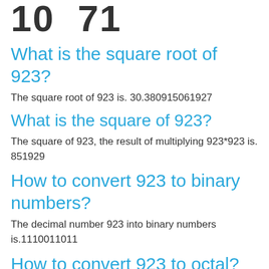10  71
What is the square root of 923?
The square root of 923 is. 30.380915061927
What is the square of 923?
The square of 923, the result of multiplying 923*923 is. 851929
How to convert 923 to binary numbers?
The decimal number 923 into binary numbers is.1110011011
How to convert 923 to octal?